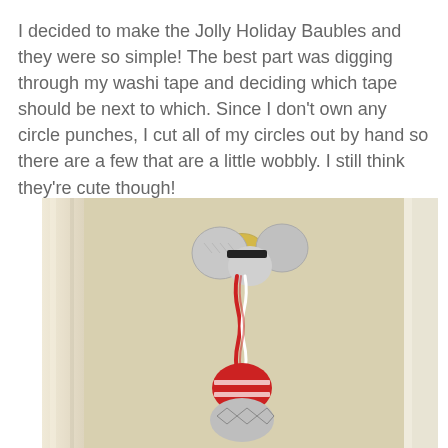I decided to make the Jolly Holiday Baubles and they were so simple! The best part was digging through my washi tape and deciding which tape should be next to which. Since I don't own any circle punches, I cut all of my circles out by hand so there are a few that are a little wobbly. I still think they're cute though!
[Figure (photo): A photograph of Jolly Holiday Baubles hanging on a door knob. The baubles appear to be handmade decorations with washi tape patterns in red/white stripes and gray geometric patterns, tied together with a red and white twisted cord, hanging on a gold door knob against a white/cream door frame.]